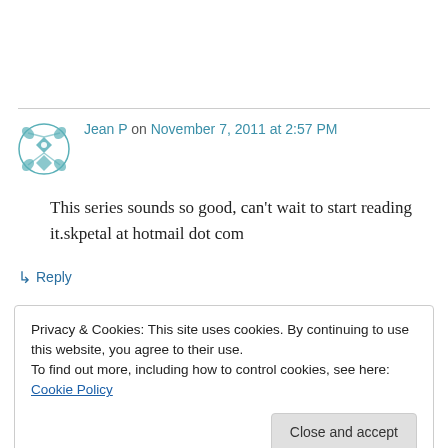Jean P on November 7, 2011 at 2:57 PM
This series sounds so good, can't wait to start reading it.skpetal at hotmail dot com
↳ Reply
Privacy & Cookies: This site uses cookies. By continuing to use this website, you agree to their use. To find out more, including how to control cookies, see here: Cookie Policy
Close and accept